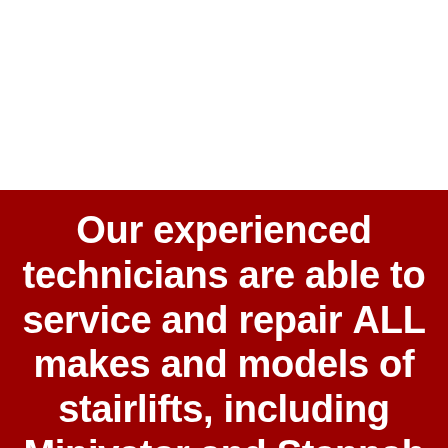[Figure (photo): White/light upper section of the page, likely containing an image that is not visible in this crop.]
Our experienced technicians are able to service and repair ALL makes and models of stairlifts, including Minivator and Stannah stairlifts.